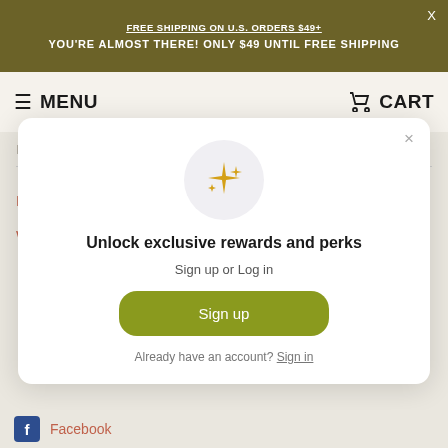FREE SHIPPING ON U.S. ORDERS $49+ | YOU'RE ALMOST THERE! ONLY $49 UNTIL FREE SHIPPING
MENU
CART
MORE GOODS
FAQ
Wholesale
Unlock exclusive rewards and perks
Sign up or Log in
Sign up
Already have an account? Sign in
Facebook